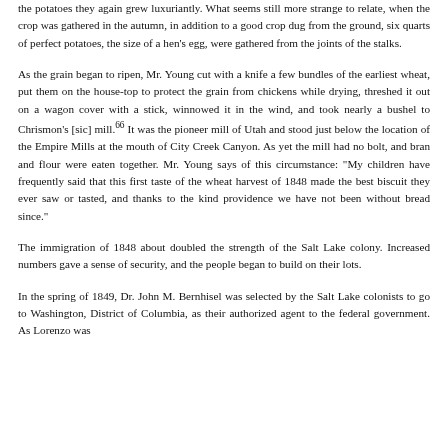the potatoes they again grew luxuriantly. What seems still more strange to relate, when the crop was gathered in the autumn, in addition to a good crop dug from the ground, six quarts of perfect potatoes, the size of a hen's egg, were gathered from the joints of the stalks.
As the grain began to ripen, Mr. Young cut with a knife a few bundles of the earliest wheat, put them on the house-top to protect the grain from chickens while drying, threshed it out on a wagon cover with a stick, winnowed it in the wind, and took nearly a bushel to Chrismon's [sic] mill.⁶⁶ It was the pioneer mill of Utah and stood just below the location of the Empire Mills at the mouth of City Creek Canyon. As yet the mill had no bolt, and bran and flour were eaten together. Mr. Young says of this circumstance: "My children have frequently said that this first taste of the wheat harvest of 1848 made the best biscuit they ever saw or tasted, and thanks to the kind providence we have not been without bread since."
The immigration of 1848 about doubled the strength of the Salt Lake colony. Increased numbers gave a sense of security, and the people began to build on their lots.
In the spring of 1849, Dr. John M. Bernhisel was selected by the Salt Lake colonists to go to Washington, District of Columbia, as their authorized agent to the federal government. As Lorenzo was